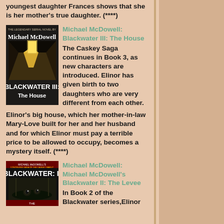youngest daughter Frances shows that she is her mother's true daughter. (****)
[Figure (photo): Book cover of Blackwater III: The House by Michael McDowell, showing a dark hallway with light coming through a doorway]
Michael McDowell: Blackwater III: The House
The Caskey Saga continues in Book 3, as new characters are introduced. Elinor has given birth to two daughters who are very different from each other. Elinor's big house, which her mother-in-law Mary-Love built for her and her husband and for which Elinor must pay a terrible price to be allowed to occupy, becomes a mystery itself. (****)
[Figure (photo): Book cover of Blackwater II: The Levee by Michael McDowell]
Michael McDowell: Michael McDowell's Blackwater II: The Levee
In Book 2 of the Blackwater series,Elinor keeps on the road to...